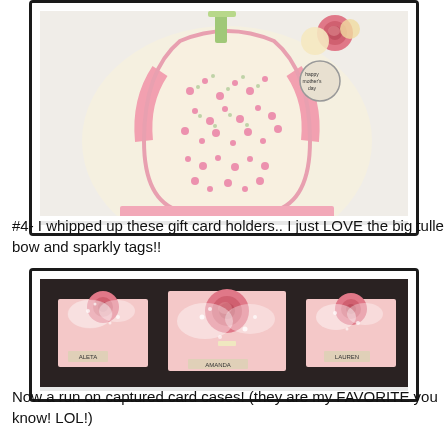[Figure (photo): A decorative handmade card shaped like a large heart or rounded purse, covered with pink floral patterned paper, with a pink rose and cream flower embellishment at the top, and a small circular tag reading 'happy mother's day'.]
#4- I whipped up these gift card holders.. I just LOVE the big tulle bow and sparkly tags!!
[Figure (photo): Three handmade pink gift card holders decorated with large pink roses, tulle bows with sparkly white dots, and small name tags (ALETA, AMANDA, LAUREN) on a dark background.]
Now a run on captured card cases! (they are my FAVORITE you know! LOL!)